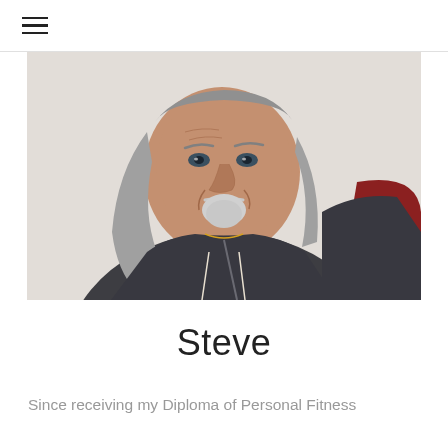≡
[Figure (photo): An older man with long gray hair and a white goatee, wearing a dark gray zip-up hoodie, smiling slightly, in a gym or fitness setting.]
Steve
Since receiving my Diploma of Personal Fitness